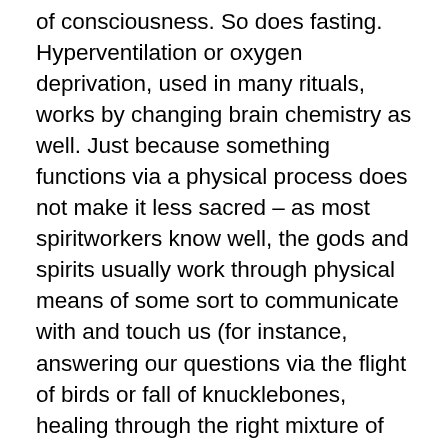of consciousness. So does fasting. Hyperventilation or oxygen deprivation, used in many rituals, works by changing brain chemistry as well. Just because something functions via a physical process does not make it less sacred – as most spiritworkers know well, the gods and spirits usually work through physical means of some sort to communicate with and touch us (for instance, answering our questions via the flight of birds or fall of knucklebones, healing through the right mixture of herbs or the hands of a healer). Of course, the gods are entirely independent of our brain chemistry, but our experience of Them is not. Our ability to contact Them directly, to open our minds in that way, cannot be divorced from the physical processes involved, the very mechanism of our communication. Entheogens are simply one way to receive the message.